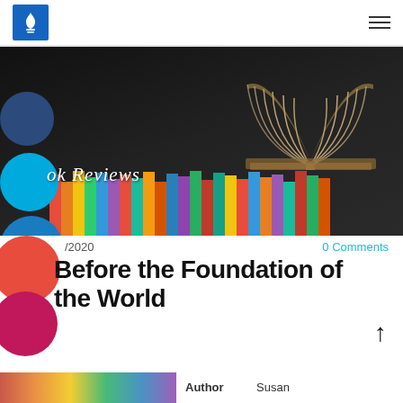Book Reviews
[Figure (photo): Book Reviews banner: open book on top of colorful stacked books against dark background, with 'Book Reviews' in italic script and decorative colored circles on left side]
/2020   0 Comments
Before the Foundation of the World
Author  Susan